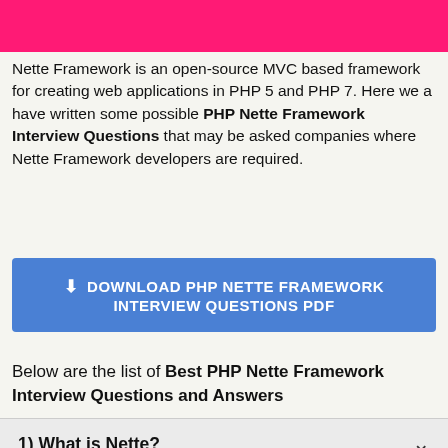[Figure (other): Pink/magenta horizontal bar at top of page]
Nette Framework is an open-source MVC based framework for creating web applications in PHP 5 and PHP 7. Here we a have written some possible PHP Nette Framework Interview Questions that may be asked companies where Nette Framework developers are required.
[Figure (other): Blue download button with download icon and text: DOWNLOAD PHP NETTE FRAMEWORK INTERVIEW QUESTIONS PDF]
Below are the list of Best PHP Nette Framework Interview Questions and Answers
1) What is Nette?
Nette Framework is an open-source MVC based framework for creating web applications in PHP 5 and 7. It supports AJAX, DRY, KISS and code